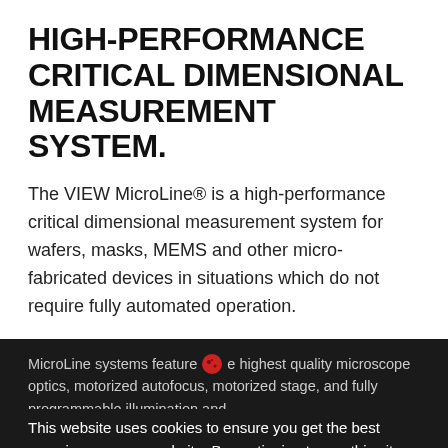HIGH-PERFORMANCE CRITICAL DIMENSIONAL MEASUREMENT SYSTEM.
The VIEW MicroLine® is a high-performance critical dimensional measurement system for wafers, masks, MEMS and other micro-fabricated devices in situations which do not require fully automated operation.
MicroLine systems feature the highest quality microscope optics, motorized autofocus, motorized stage, and fully programmable illumination and...
This website uses cookies to ensure you get the best experience on our website. By continuing to use this site, you agree to our use of cookies. Learn more.
with irregular edges and other critical features.
I Agree